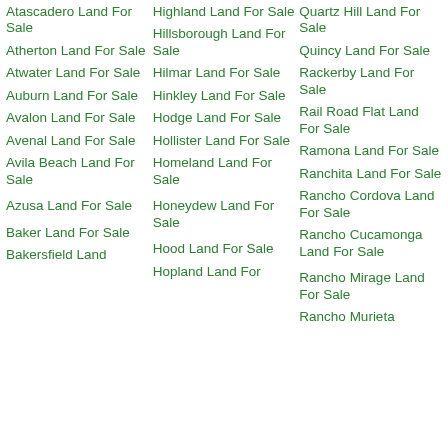Atascadero Land For Sale
Atherton Land For Sale
Atwater Land For Sale
Auburn Land For Sale
Avalon Land For Sale
Avenal Land For Sale
Avila Beach Land For Sale
Azusa Land For Sale
Baker Land For Sale
Bakersfield Land
Highland Land For Sale
Hillsborough Land For Sale
Hilmar Land For Sale
Hinkley Land For Sale
Hodge Land For Sale
Hollister Land For Sale
Homeland Land For Sale
Honeydew Land For Sale
Hood Land For Sale
Hopland Land For
Quartz Hill Land For Sale
Quincy Land For Sale
Rackerby Land For Sale
Rail Road Flat Land For Sale
Ramona Land For Sale
Ranchita Land For Sale
Rancho Cordova Land For Sale
Rancho Cucamonga Land For Sale
Rancho Mirage Land For Sale
Rancho Murieta